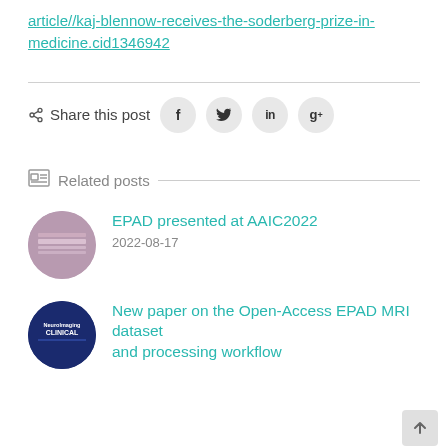article//kaj-blennow-receives-the-soderberg-prize-in-medicine.cid1346942
Share this post
Related posts
EPAD presented at AAIC2022
2022-08-17
New paper on the Open-Access EPAD MRI dataset and processing workflow